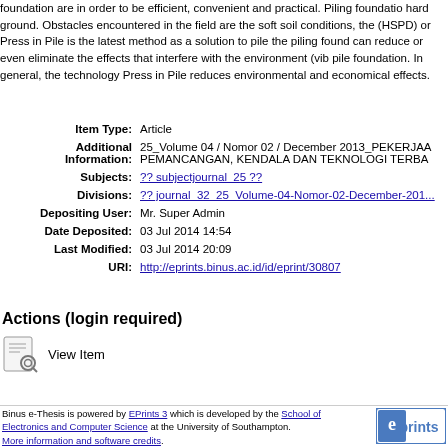foundation are in order to be efficient, convenient and practical. Piling foundation hard ground. Obstacles encountered in the field are the soft soil conditions, the (HSPD) or Press in Pile is the latest method as a solution to pile the piling found can reduce or even eliminate the effects that interfere with the environment (vib pile foundation. In general, the technology Press in Pile reduces environmental and economical effects.
| Item Type: | Article |
| Additional Information: | 25_Volume 04 / Nomor 02 / December 2013_PEKERJAA PEMANCANGAN, KENDALA DAN TEKNOLOGI TERBA |
| Subjects: | ?? subjectjournal_25 ?? |
| Divisions: | ?? journal_32_25_Volume-04-Nomor-02-December-201... |
| Depositing User: | Mr. Super Admin |
| Date Deposited: | 03 Jul 2014 14:54 |
| Last Modified: | 03 Jul 2014 20:09 |
| URI: | http://eprints.binus.ac.id/id/eprint/30807 |
Actions (login required)
View Item
Binus e-Thesis is powered by EPrints 3 which is developed by the School of Electronics and Computer Science at the University of Southampton. More information and software credits.